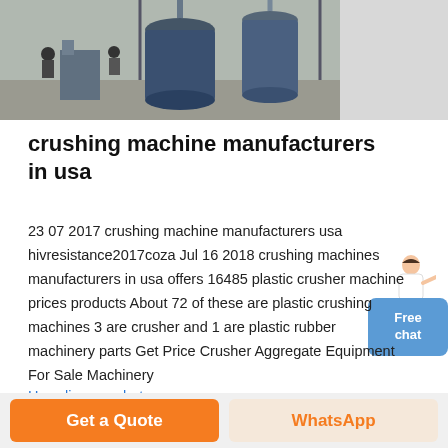[Figure (photo): Industrial facility interior with large cylindrical equipment/machines and workers visible]
crushing machine manufacturers in usa
23 07 2017  crushing machine manufacturers usa hivresistance2017coza Jul 16 2018 crushing machines manufacturers in usa offers 16485 plastic crusher machine prices products About 72 of these are plastic crushing machines 3 are crusher and 1 are plastic rubber machinery parts Get Price Crusher Aggregate Equipment For Sale Machinery
Haz clic para chatear
Get a Quote
WhatsApp